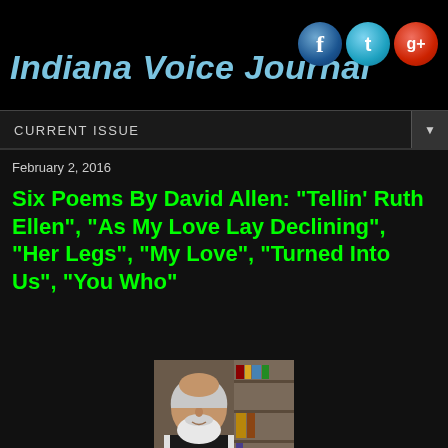Indiana Voice Journal
CURRENT ISSUE
February 2, 2016
Six Poems By David Allen: "Tellin' Ruth Ellen", "As My Love Lay Declining", "Her Legs", "My Love", "Turned Into Us", "You Who"
[Figure (photo): Headshot of David Allen, a man with a white beard wearing a dark shirt, photographed indoors]